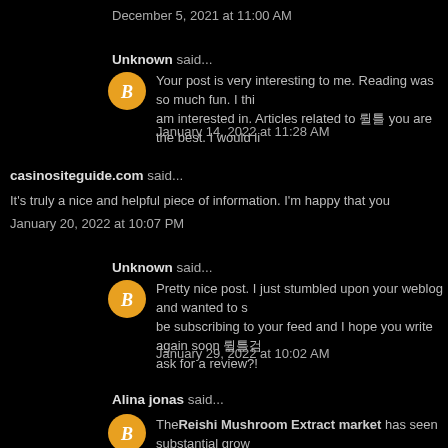December 5, 2021 at 11:00 AM
Unknown said...
[Figure (logo): Orange circle with white letter B (Blogger avatar icon)]
Your post is very interesting to me. Reading was so much fun. I thi am interested in. Articles related to 먹튀 you are the best. I would li
January 14, 2022 at 11:28 AM
casinositeguide.com said...
It's truly a nice and helpful piece of information. I'm happy that you
January 20, 2022 at 10:07 PM
Unknown said...
[Figure (logo): Orange circle with white letter B (Blogger avatar icon)]
Pretty nice post. I just stumbled upon your weblog and wanted to s be subscribing to your feed and I hope you write again soon 먹튀검 ask for a review?!
January 29, 2022 at 10:02 AM
Alina jonas said...
[Figure (logo): Orange circle with white letter B (Blogger avatar icon)]
The Reishi Mushroom Extract market has seen substantial grow